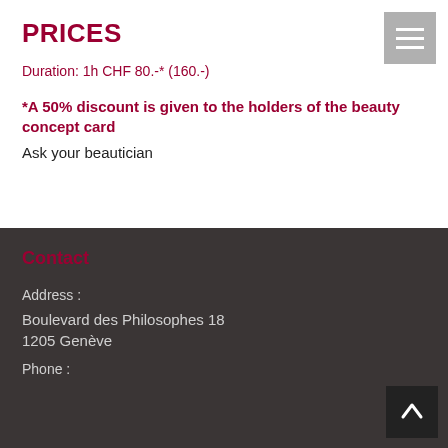PRICES
Duration: 1h CHF 80.-* (160.-)
*A 50% discount is given to the holders of the beauty concept card
Ask your beautician
Contact
Address :
Boulevard des Philosophes 18
1205 Genève
Phone :